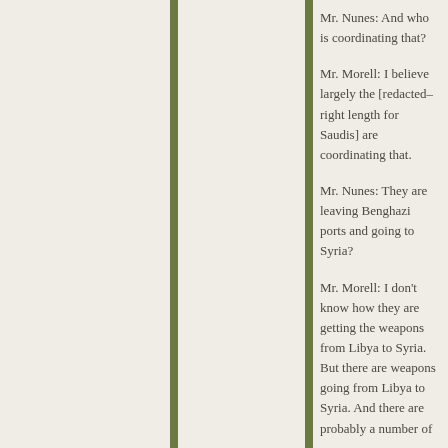Mr. Nunes: And who is coordinating that?
Mr. Morell: I believe largely the [redacted–right length for Saudis] are coordinating that.
Mr. Nunes: They are leaving Benghazi ports and going to Syria?
Mr. Morell: I don't know how they are getting the weapons from Libya to Syria. But there are weapons going from Libya to Syria. And there are probably a number of